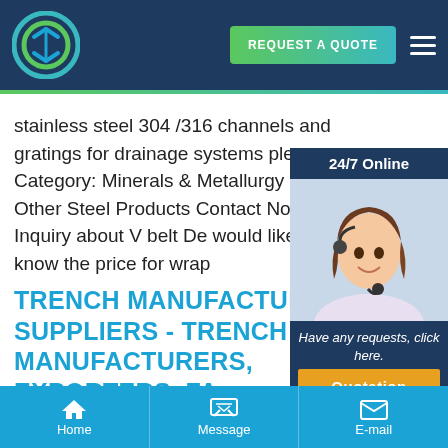[Figure (logo): Circular logo with arrows on dark navy header bar]
REQUEST A QUOTE
stainless steel 304 /316 channels and gratings for drainage systems please Category: Minerals & Metallurgy | Other Steel Products Contact Now Inquiry about V belt De would like to know the price for wrap
24/7 Online
[Figure (photo): Customer service agent woman with headset, smiling]
Have any requests, click here.
Quotation
TRENCH MANUFACTURE SUPPLIERS - TRENCH MANUFACTURERS, EXPORTERS, FA
Home   Message   E-mail